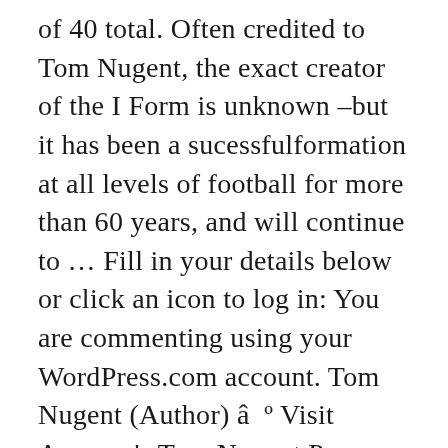of 40 total. Often credited to Tom Nugent, the exact creator of the I Form is unknown –but it has been a sucessfulformation at all levels of football for more than 60 years, and will continue to … Fill in your details below or click an icon to log in: You are commenting using your WordPress.com account. Tom Nugent (Author) â º Visit Amazon's Tom Nugent Page. Extra Sauce Episode 14: We Talk To Journalist Tom Nugent From "The Keepers" Friday, June 2nd After obsessing over it for weeks, Greg and Mike talk to Tom Nugent, the journalist who's reporting helped reopen the investigation into the murder of Sister Cathy Cesnik which is … ( Log Out /  The distinguished former South